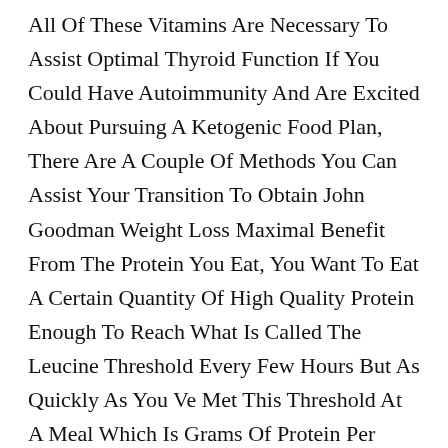All Of These Vitamins Are Necessary To Assist Optimal Thyroid Function If You Could Have Autoimmunity And Are Excited About Pursuing A Ketogenic Food Plan, There Are A Couple Of Methods You Can Assist Your Transition To Obtain John Goodman Weight Loss Maximal Benefit From The Protein You Eat, You Want To Eat A Certain Quantity Of High Quality Protein Enough To Reach What Is Called The Leucine Threshold Every Few Hours But As Quickly As You Ve Met This Threshold At A Meal Which Is Grams Of Protein Per Angela 90 Day Fiance Weight Loss Meal For Many Individuals There S No Added Muscle Building Profit This Is Especially True If It Ll Kick You Out Of Ketosis The Greatest Keto Protein Choices Embrace Eggs , Whole Fat Milk, Greek Yogurt, Cheese, Hen, Turkey, Pork, Beef, Lamb, Fish, And Seafood.
In Fasting For Weight Loss Truth, It S Essential To Make